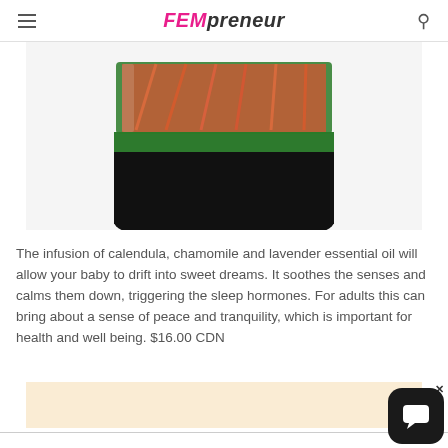FEMpreneur
[Figure (photo): Close-up photo of the bottom portion of a dark glass jar with green and black lid containing a product with orange/red coloring, on a white background]
The infusion of calendula, chamomile and lavender essential oil will allow your baby to drift into sweet dreams. It soothes the senses and calms them down, triggering the sleep hormones. For adults this can bring about a sense of peace and tranquility, which is important for health and well being. $16.00 CDN
[Figure (other): Light peach/tan colored advertisement banner area]